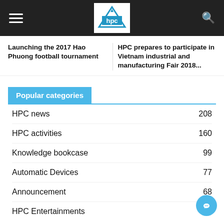HPC website header with hamburger menu, HPC logo, and search icon
Launching the 2017 Hao Phuong football tournament
HPC prepares to participate in Vietnam industrial and manufacturing Fair 2018...
Popular categories
HPC news 208
HPC activities 160
Knowledge bookcase 99
Automatic Devices 77
Announcement 68
HPC Entertainments 59